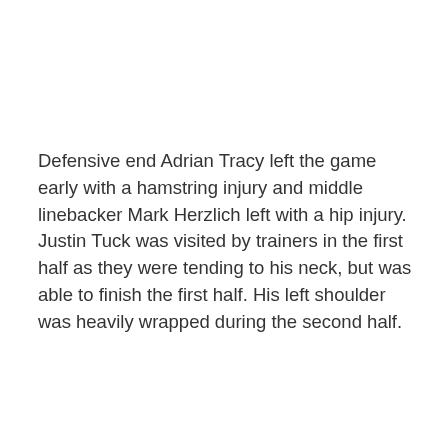Defensive end Adrian Tracy left the game early with a hamstring injury and middle linebacker Mark Herzlich left with a hip injury. Justin Tuck was visited by trainers in the first half as they were tending to his neck, but was able to finish the first half. His left shoulder was heavily wrapped during the second half.
Follow Kelsey O'Donnell on Twitter @KelsODonnell